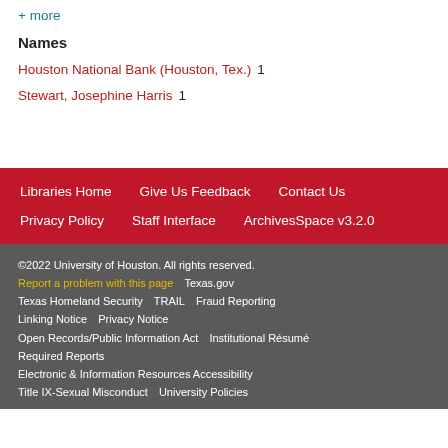+ more
Names
Houston National Bank (Houston, Tex.)  1
Stewart, Josephine Harris  1
Libraries Home   Give Us Feedback   Contact Us   Privacy Policy   Staff Interface   ArchivesSpace v3.2.0
©2022 University of Houston. All rights reserved.
Report a problem with this page   Texas.gov
Texas Homeland Security   TRAIL   Fraud Reporting
Linking Notice   Privacy Notice
Open Records/Public Information Act   Institutional Résumé
Required Reports
Electronic & Information Resources Accessibility
Title IX-Sexual Misconduct   University Policies